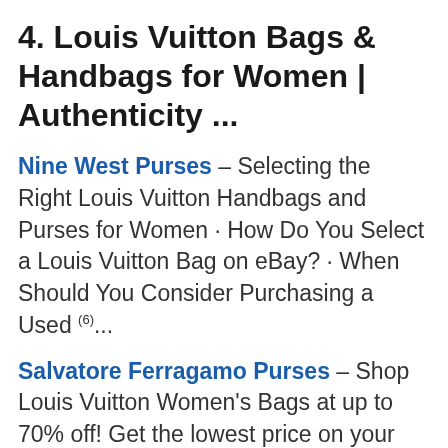4. Louis Vuitton Bags & Handbags for Women | Authenticity ...
Nine West Purses – Selecting the Right Louis Vuitton Handbags and Purses for Women · How Do You Select a Louis Vuitton Bag on eBay? · When Should You Consider Purchasing a Used (6)...
Salvatore Ferragamo Purses – Shop Louis Vuitton Women's Bags at up to 70% off! Get the lowest price on your favorite brands at Poshmark. Poshmark makes shopping fun, affordable & easy!(7)...